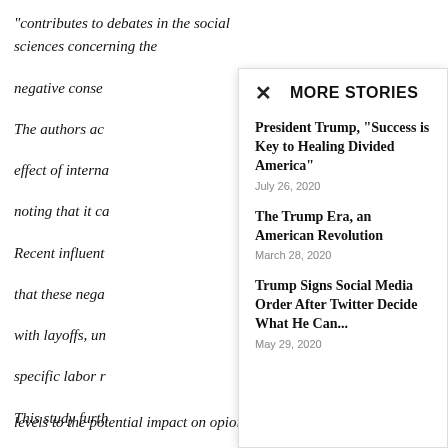“contributes to debates in the social sciences concerning the negative conse…
The authors ac… effect of interna… noting that it ca…
Recent influent… that these nega… with layoffs, un… specific labor r…
This study furth… of international… levels to the potential impact on opioid-related overdose death.”
MORE STORIES
President Trump, “Success is Key to Healing Divided America”
July 26, 2020
The Trump Era, an American Revolution
March 28, 2020
Trump Signs Social Media Order After Twitter Decide What He Can...
May 29, 2020